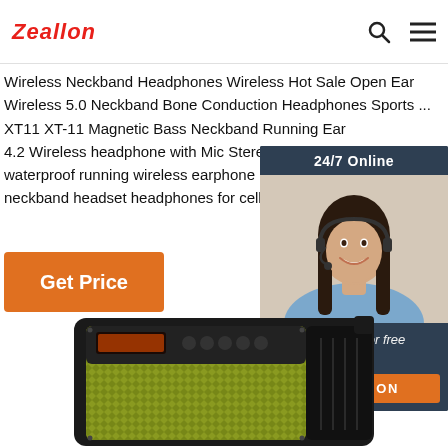Zeallon
Wireless Neckband Headphones Wireless Hot Sale Open Ear Wireless 5.0 Neckband Bone Conduction Headphones Sports ... XT11 XT-11 Magnetic Bass Neckband Running Ear 4.2 Wireless headphone with Mic Stereo ... 2020 waterproof running wireless earphone music ear neckband headset headphones for cell phone. $1
[Figure (photo): Customer service representative woman with headset smiling, with '24/7 Online' header, 'Click here for free chat!' text, and an orange QUOTATION button]
Get Price
[Figure (photo): A portable speaker with yellow/green fabric mesh and black casing, with control buttons and a small display on top]